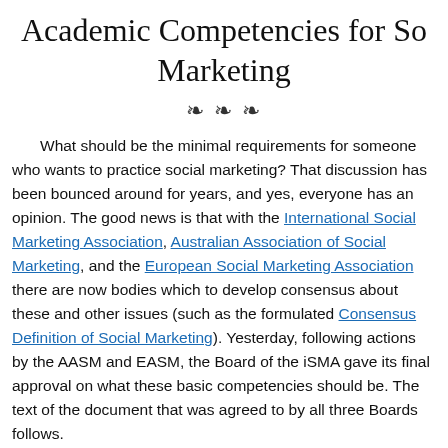Academic Competencies for Social Marketing
What should be the minimal requirements for someone who wants to practice social marketing? That discussion has been bounced around for years, and yes, everyone has an opinion. The good news is that with the International Social Marketing Association, Australian Association of Social Marketing, and the European Social Marketing Association there are now bodies which to develop consensus about these and other issues (such as the formulated Consensus Definition of Social Marketing). Yesterday, following actions by the AASM and EASM, the Board of the iSMA gave its final approval on what these basic competencies should be. The text of the document that was agreed to by all three Boards follows.
The academic competencies for social marketing outlined in this document are intended as guidance for instructors of academic courses and designers of